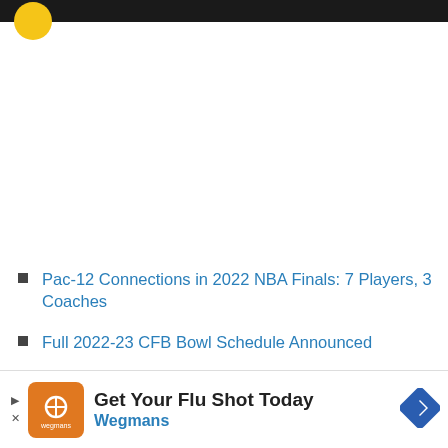Pac-12 Connections in 2022 NBA Finals: 7 Players, 3 Coaches
Full 2022-23 CFB Bowl Schedule Announced
All-Time Pac-12 Conference Softball Championships
[Figure (other): Advertisement banner: Get Your Flu Shot Today — Wegmans with pharmacy icon and navigation arrow button]